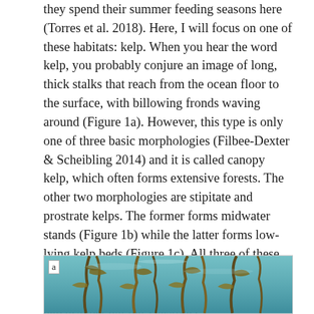they spend their summer feeding seasons here (Torres et al. 2018). Here, I will focus on one of these habitats: kelp. When you hear the word kelp, you probably conjure an image of long, thick stalks that reach from the ocean floor to the surface, with billowing fronds waving around (Figure 1a). However, this type is only one of three basic morphologies (Filbee-Dexter & Scheibling 2014) and it is called canopy kelp, which often forms extensive forests. The other two morphologies are stipitate and prostrate kelps. The former forms midwater stands (Figure 1b) while the latter forms low-lying kelp beds (Figure 1c). All three of these morphologies exist on the Oregon coast and create a mosaic of understory and canopy kelp patches that dot our coastline.
[Figure (photo): Underwater photograph of kelp forest showing long stalks and fronds in blue-green water. Label 'a' in top-left corner.]